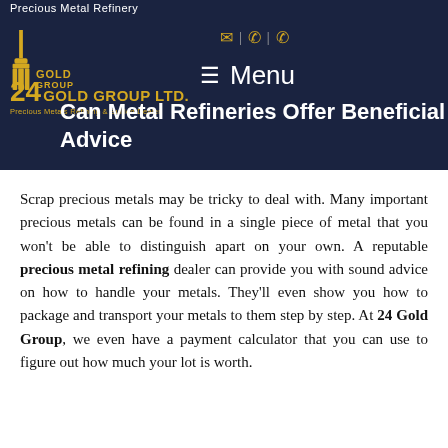Precious Metal Refinery
[Figure (logo): 24 Gold Group Ltd. logo with CN Tower graphic, text '24 GOLD GROUP LTD.' and subtitle 'Precious Metals Refining & Bullion Dealer']
Can Metal Refineries Offer Beneficial Advice
Scrap precious metals may be tricky to deal with. Many important precious metals can be found in a single piece of metal that you won't be able to distinguish apart on your own. A reputable precious metal refining dealer can provide you with sound advice on how to handle your metals. They'll even show you how to package and transport your metals to them step by step. At 24 Gold Group, we even have a payment calculator that you can use to figure out how much your lot is worth.